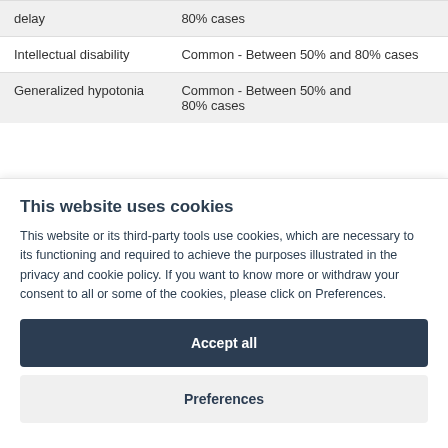| Condition | Frequency |
| --- | --- |
| delay | 80% cases |
| Intellectual disability | Common - Between 50% and 80% cases |
| Generalized hypotonia | Common - Between 50% and 80% cases |
This website uses cookies
This website or its third-party tools use cookies, which are necessary to its functioning and required to achieve the purposes illustrated in the privacy and cookie policy. If you want to know more or withdraw your consent to all or some of the cookies, please click on Preferences.
Accept all
Preferences